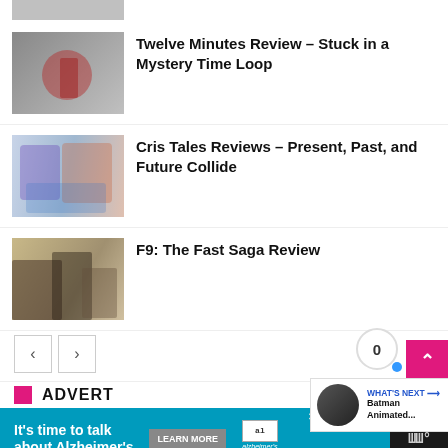[Figure (photo): Partially visible thumbnail at top, gray image]
Twelve Minutes Review – Stuck in a Mystery Time Loop
[Figure (photo): Thumbnail for Twelve Minutes Review showing reddish figure on dark background]
Cris Tales Reviews – Present, Past, and Future Collide
[Figure (photo): Thumbnail for Cris Tales showing colorful animated characters]
F9: The Fast Saga Review
[Figure (photo): Thumbnail for F9 The Fast Saga showing cast members]
ADVERT
[Figure (screenshot): Ad banner: It's time to talk about Alzheimer's. Learn More button. Alzheimer's Association logo.]